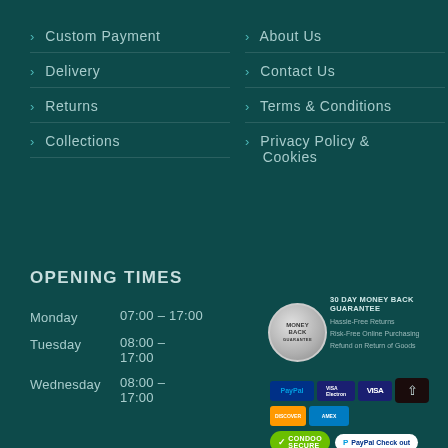> Custom Payment
> About Us
> Delivery
> Contact Us
> Returns
> Terms & Conditions
> Collections
> Privacy Policy & Cookies
OPENING TIMES
Monday  07:00 – 17:00
Tuesday  08:00 – 17:00
Wednesday  08:00 – 17:00
[Figure (logo): Money Back Guarantee badge - silver circular seal with text MONEY BACK GUARANTEE]
30 DAY MONEY BACK GUARANTEE
Hassle-Free Returns
Risk-Free Online Purchasing
Refund on Return of Goods
[Figure (logo): Payment icons: PayPal, Visa Electron, Visa, arrow-up button, Discover, Amex, Condoo Secure badge, PayPal Checkout button]